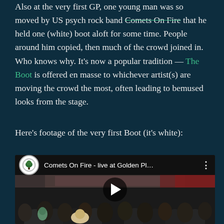Also at the very first GP, one young man was so moved by US psych rock band Comets On Fire that he held one (white) boot aloft for some time. People around him copied, then much of the crowd joined in. Who knows why. It's now a popular tradition — The Boot is offered en masse to whichever artist(s) are moving the crowd the most, often leading to bemused looks from the stage.
Here's footage of the very first Boot (it's white):
[Figure (screenshot): YouTube video embed showing Comets On Fire - live at Golden Pl... with a crowd at a music festival, a play button in the center, and a channel icon with a tree logo.]